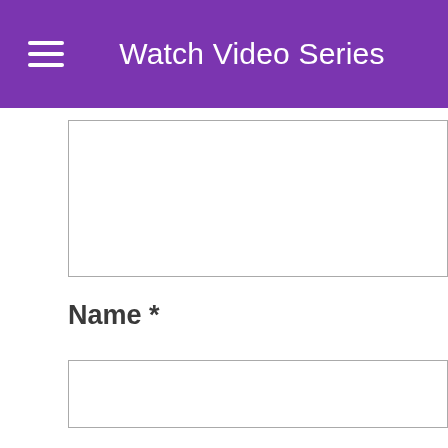Watch Video Series
Name *
Email *
Website